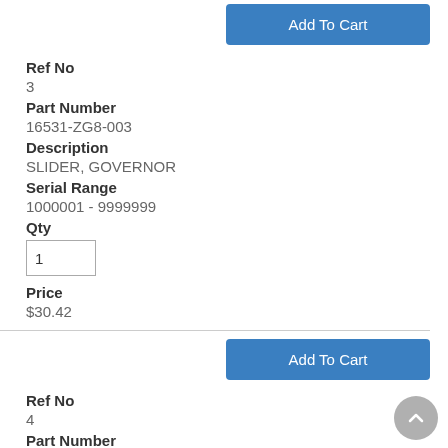Add To Cart
Ref No
3
Part Number
16531-ZG8-003
Description
SLIDER, GOVERNOR
Serial Range
1000001 - 9999999
Qty
Price
$30.42
Add To Cart
Ref No
4
Part Number
16532-ZG5-000